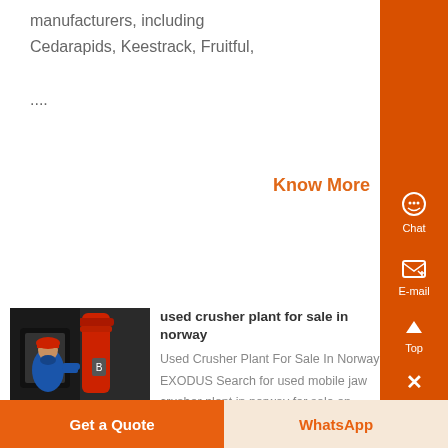manufacturers, including Cedarapids, Keestrack, Fruitful, ....
Know More
[Figure (photo): Worker in blue uniform and red hard hat operating machinery at industrial site]
used crusher plant for sale in norway
Used Crusher Plant For Sale In Norway EXODUS Search for used mobile jaw crusher plant in norway for sale on machinio categories tip enter manufacturer model or keyword selected filters norway used
Get a Quote
WhatsApp